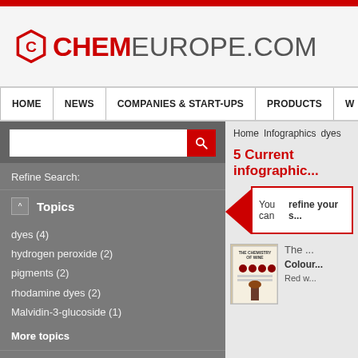[Figure (logo): Chemeurope.com logo with red hexagon icon and CHEM in red, EUROPE.COM in gray]
HOME | NEWS | COMPANIES & START-UPS | PRODUCTS | W...
Refine Search:
Topics
dyes (4)
hydrogen peroxide (2)
pigments (2)
rhodamine dyes (2)
Malvidin-3-glucoside (1)
More topics
Organisations
Compound Interest (5)
Home   Infographics   dyes
5 Current infographic...
You can refine your s...
[Figure (screenshot): The Chemistry of Wine infographic thumbnail showing wine bottle and glasses]